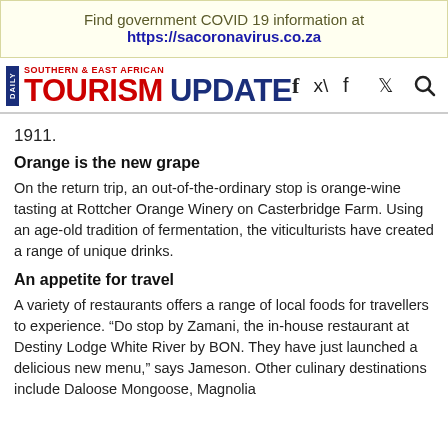Find government COVID 19 information at https://sacoronavirus.co.za
[Figure (logo): Daily Southern & East African Tourism Update logo with navigation icons (Facebook, Twitter, Search, Menu)]
1911.
Orange is the new grape
On the return trip, an out-of-the-ordinary stop is orange-wine tasting at Rottcher Orange Winery on Casterbridge Farm. Using an age-old tradition of fermentation, the viticulturists have created a range of unique drinks.
An appetite for travel
A variety of restaurants offers a range of local foods for travellers to experience. “Do stop by Zamani, the in-house restaurant at Destiny Lodge White River by BON. They have just launched a delicious new menu,” says Jameson. Other culinary destinations include Daloose Mongoose, Magnolia